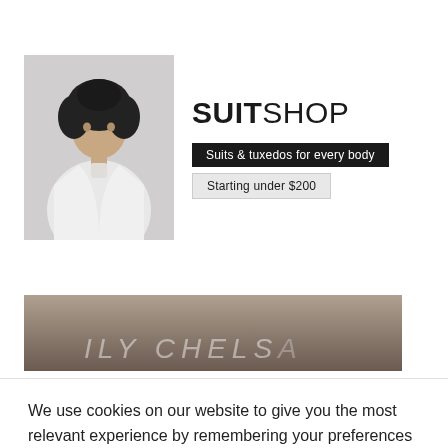[Figure (photo): Advertisement for SuitShop featuring a person in a white blazer with curly hair, alongside the brand name SUITSHOP and taglines: 'Suits & tuxedos for every body' and 'Starting under $200']
[Figure (photo): Partial strip image with a dark brownish gradient background showing text that reads 'ILY CHELS' in large light letters — appears to be part of a brand or article headline]
We use cookies on our website to give you the most relevant experience by remembering your preferences and repeat visits. By clicking “Accept”, you consent to the use of ALL the cookies.
Terms & Conditions | Privacy Policy | Cookie Policy
Cookie settings
ACCEPT